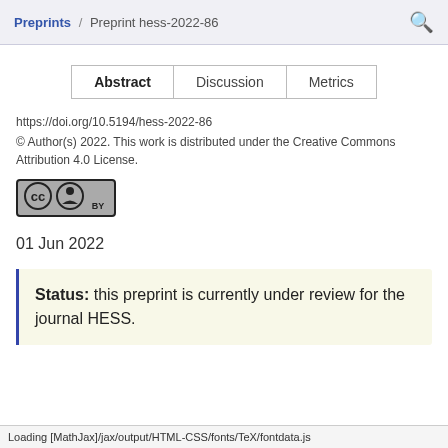Preprints / Preprint hess-2022-86
| Abstract | Discussion | Metrics |
| --- | --- | --- |
https://doi.org/10.5194/hess-2022-86
© Author(s) 2022. This work is distributed under the Creative Commons Attribution 4.0 License.
[Figure (logo): Creative Commons BY license badge]
01 Jun 2022
Status: this preprint is currently under review for the journal HESS.
Loading [MathJax]/jax/output/HTML-CSS/fonts/TeX/fontdata.js